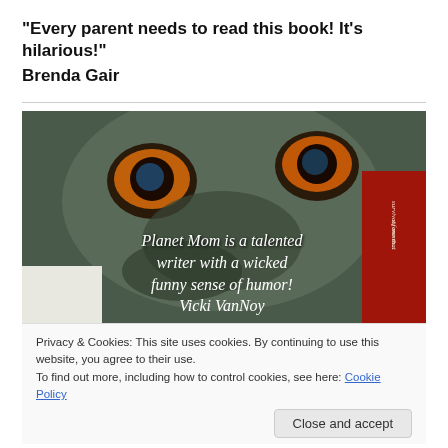“Every parent needs to read this book! It’s hilarious!” Brenda Gair
[Figure (photo): Photo of a book cover featuring a stylized face/mask with text overlay: 'Planet Mom is a talented writer with a wicked funny sense of humor! Vicki VanNoy']
Privacy & Cookies: This site uses cookies. By continuing to use this website, you agree to their use.
To find out more, including how to control cookies, see here: Cookie Policy
Close and accept
[Figure (photo): Partial bottom image showing red background with partial text 'iva.']